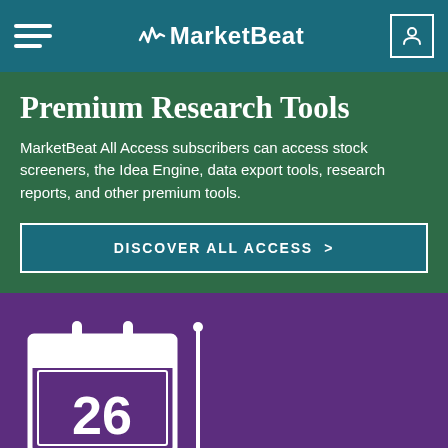MarketBeat
Premium Research Tools
MarketBeat All Access subscribers can access stock screeners, the Idea Engine, data export tools, research reports, and other premium tools.
DISCOVER ALL ACCESS >
[Figure (illustration): Calendar icon showing the number 26 on a purple background with a vertical line/pin on the right side]
Market Data and Calendars